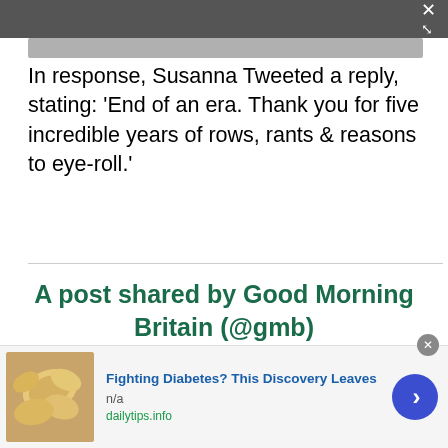[Figure (screenshot): Dark top bar with close/fullscreen icon (X with arrows)]
[Figure (photo): Partial image strip visible at top]
In response, Susanna Tweeted a reply, stating: ‘End of an era. Thank you for five incredible years of rows, rants & reasons to eye-roll.’
A post shared by Good Morning Britain (@gmb)
A photo posted by on
[Figure (infographic): Advertisement banner: Fighting Diabetes? This Discovery Leaves. n/a. dailytips.info. Image of cashew nuts on left, blue arrow button on right.]